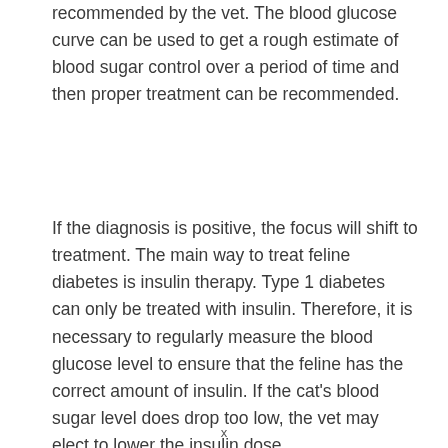recommended by the vet. The blood glucose curve can be used to get a rough estimate of blood sugar control over a period of time and then proper treatment can be recommended.
If the diagnosis is positive, the focus will shift to treatment. The main way to treat feline diabetes is insulin therapy. Type 1 diabetes can only be treated with insulin. Therefore, it is necessary to regularly measure the blood glucose level to ensure that the feline has the correct amount of insulin. If the cat's blood sugar level does drop too low, the vet may elect to lower the insulin dose.
x